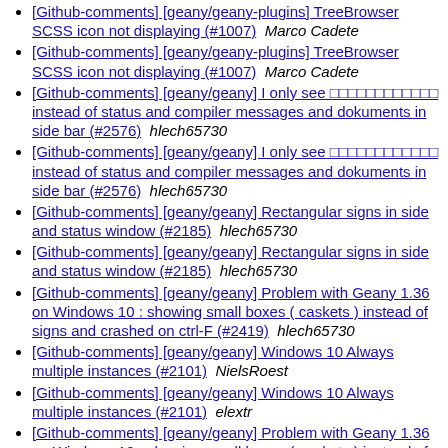[Github-comments] [geany/geany-plugins] TreeBrowser SCSS icon not displaying (#1007)  Marco Cadete
[Github-comments] [geany/geany-plugins] TreeBrowser SCSS icon not displaying (#1007)  Marco Cadete
[Github-comments] [geany/geany] I only see □□□□□□□□□□□□ instead of status and compiler messages and dokuments in side bar (#2576)  hlech65730
[Github-comments] [geany/geany] I only see □□□□□□□□□□□□ instead of status and compiler messages and dokuments in side bar (#2576)  hlech65730
[Github-comments] [geany/geany] Rectangular signs in side and status window (#2185)  hlech65730
[Github-comments] [geany/geany] Rectangular signs in side and status window (#2185)  hlech65730
[Github-comments] [geany/geany] Problem with Geany 1.36 on Windows 10 : showing small boxes ( caskets ) instead of signs and crashed on ctrl-F (#2419)  hlech65730
[Github-comments] [geany/geany] Windows 10 Always multiple instances (#2101)  NielsRoest
[Github-comments] [geany/geany] Windows 10 Always multiple instances (#2101)  elextr
[Github-comments] [geany/geany] Problem with Geany 1.36 on Windows 10 : showing small boxes ( caskets ) instead of signs and crashed on ctrl-F (#2419)  elextr
[Github-comments] [geany/geany] Windows 10 Always multiple instances (#2101)  elextr